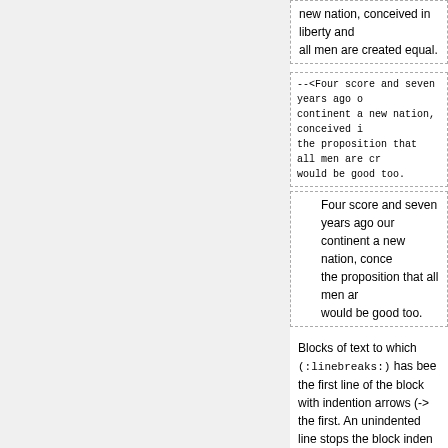new nation, conceived in liberty and all men are created equal.
--<Four score and seven years ago our continent a new nation, conceived in the proposition that all men are created would be good too.
Four score and seven years ago our continent a new nation, conceived in the proposition that all men are would be good too.
Blocks of text to which (:linebreaks:) has been applied begin the first line of the block with indention arrows (->) indented more than the first. An unindented line stops the block indentation. Above is an example.
Bulleted and Numbered Lists
Bullet lists are made by placing asterisks at the beginning. Numbered lists are made by placing number-signs (#) at the beginning. Increasing the number of signs increases the level of bullet: